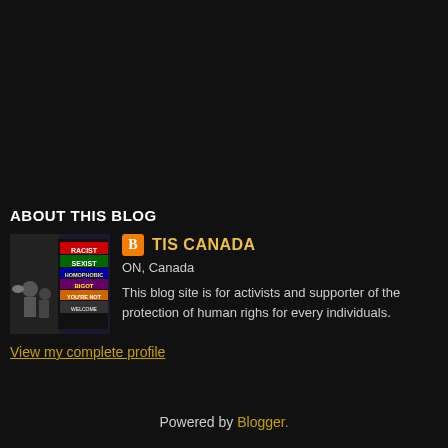ABOUT THIS BLOG
[Figure (photo): Blog profile image showing a protest or activism themed graphic with colorful text including words like RACIST, SEXIST, and other protest slogans]
TIS CANADA
ON, Canada
This blog site is for activists and supporter of the protection of human righs for every individuals.
View my complete profile
Powered by Blogger.